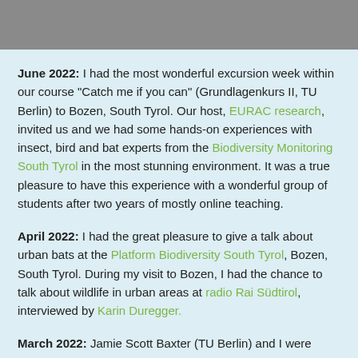June 2022: I had the most wonderful excursion week within our course "Catch me if you can" (Grundlagenkurs II, TU Berlin) to Bozen, South Tyrol. Our host, EURAC research, invited us and we had some hands-on experiences with insect, bird and bat experts from the Biodiversity Monitoring South Tyrol in the most stunning environment. It was a true pleasure to have this experience with a wonderful group of students after two years of mostly online teaching.
April 2022: I had the great pleasure to give a talk about urban bats at the Platform Biodiversity South Tyrol, Bozen, South Tyrol. During my visit to Bozen, I had the chance to talk about wildlife in urban areas at radio Rai Südtirol, interviewed by Karin Duregger.
March 2022: Jamie Scott Baxter (TU Berlin) and I were hosting a